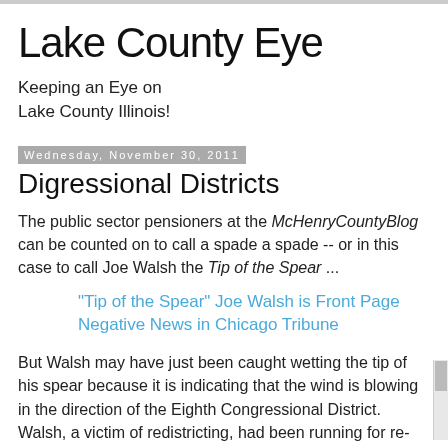Lake County Eye
Keeping an Eye on Lake County Illinois!
Wednesday, November 30, 2011
Digressional Districts
The public sector pensioners at the McHenryCountyBlog can be counted on to call a spade a spade -- or in this case to call Joe Walsh the Tip of the Spear ...
"Tip of the Spear" Joe Walsh is Front Page Negative News in Chicago Tribune
But Walsh may have just been caught wetting the tip of his spear because it is indicating that the wind is blowing in the direction of the Eighth Congressional District. Walsh, a victim of redistricting, had been running for re-election in the Fourteenth Congressional District as a Republican...